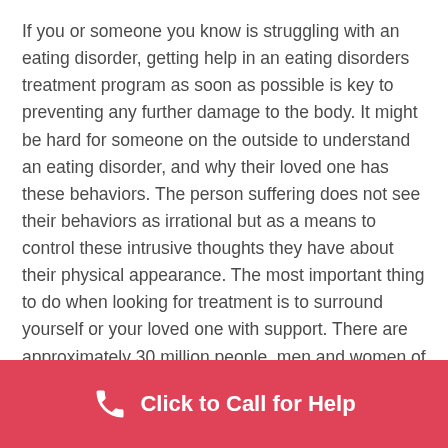If you or someone you know is struggling with an eating disorder, getting help in an eating disorders treatment program as soon as possible is key to preventing any further damage to the body. It might be hard for someone on the outside to understand an eating disorder, and why their loved one has these behaviors. The person suffering does not see their behaviors as irrational but as a means to control these intrusive thoughts they have about their physical appearance. The most important thing to do when looking for treatment is to surround yourself or your loved one with support. There are approximately 30 million people, men and women of all ages, who suffer in the United States each year.
Click to Call for Help